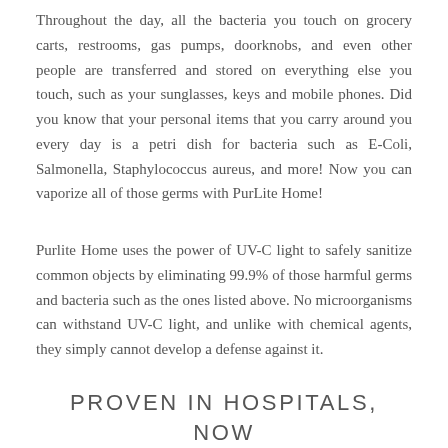Throughout the day, all the bacteria you touch on grocery carts, restrooms, gas pumps, doorknobs, and even other people are transferred and stored on everything else you touch, such as your sunglasses, keys and mobile phones. Did you know that your personal items that you carry around you every day is a petri dish for bacteria such as E-Coli, Salmonella, Staphylococcus aureus, and more! Now you can vaporize all of those germs with PurLite Home!
Purlite Home uses the power of UV-C light to safely sanitize common objects by eliminating 99.9% of those harmful germs and bacteria such as the ones listed above. No microorganisms can withstand UV-C light, and unlike with chemical agents, they simply cannot develop a defense against it.
PROVEN IN HOSPITALS, NOW AVAILABLE FOR HOME!